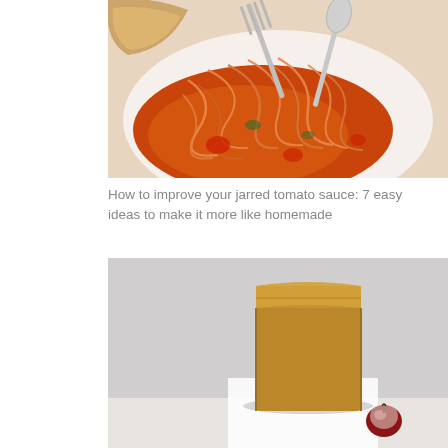[Figure (photo): A plate of spaghetti with tomato sauce and a fork twirling noodles, with bread visible in the background.]
How to improve your jarred tomato sauce: 7 easy ideas to make it more like homemade
[Figure (photo): A brown paper lunch bag standing upright next to a small ceramic apple figurine on a white/grey surface.]